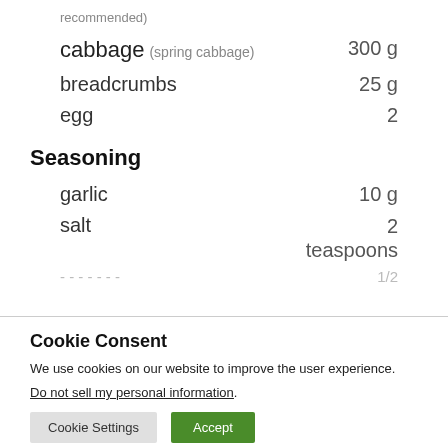recommended)
cabbage (spring cabbage)  300 g
breadcrumbs  25 g
egg  2
Seasoning
garlic  10 g
salt  2 teaspoons
1/2 (partially visible)
Cookie Consent
We use cookies on our website to improve the user experience.
Do not sell my personal information.
Cookie Settings  Accept